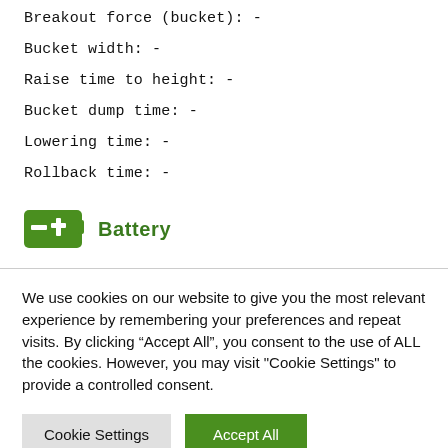Breakout force (bucket): -
Bucket width: -
Raise time to height: -
Bucket dump time: -
Lowering time: -
Rollback time: -
Battery
We use cookies on our website to give you the most relevant experience by remembering your preferences and repeat visits. By clicking “Accept All”, you consent to the use of ALL the cookies. However, you may visit "Cookie Settings" to provide a controlled consent.